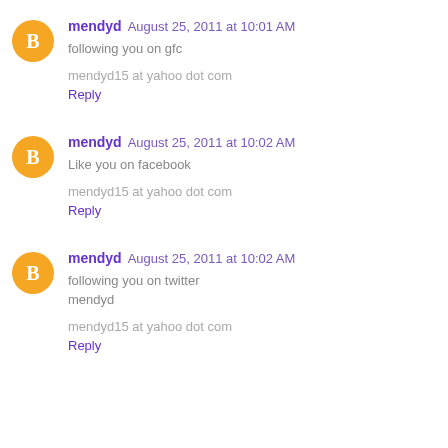mendyd  August 25, 2011 at 10:01 AM
following you on gfc
mendyd15 at yahoo dot com
Reply
mendyd  August 25, 2011 at 10:02 AM
Like you on facebook
mendyd15 at yahoo dot com
Reply
mendyd  August 25, 2011 at 10:02 AM
following you on twitter
mendyd
mendyd15 at yahoo dot com
Reply